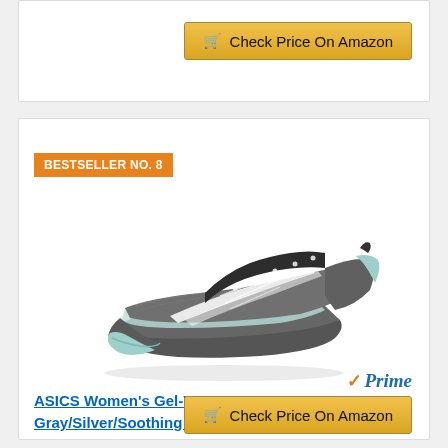[Figure (other): Amazon 'Check Price On Amazon' button (top, partial card)]
BESTSELLER NO. 8
[Figure (photo): ASICS Women's Gel-Venture 5 running shoe in Frost Gray/Silver/Soothing Sea colorway, viewed from the side on a white background]
ASICS Women's Gel-Venture 5 Frost Gray/Silver/Soothing Sea Running Shoe 10 M US
[Figure (logo): Amazon Prime logo with checkmark]
[Figure (other): Amazon 'Check Price On Amazon' button (bottom)]